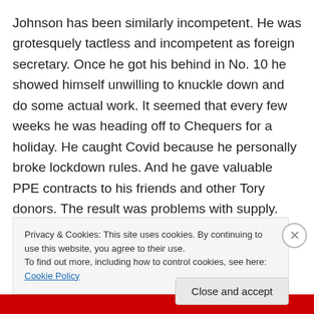Johnson has been similarly incompetent. He was grotesquely tactless and incompetent as foreign secretary. Once he got his behind in No. 10 he showed himself unwilling to knuckle down and do some actual work. It seemed that every few weeks he was heading off to Chequers for a holiday. He caught Covid because he personally broke lockdown rules. And he gave valuable PPE contracts to his friends and other Tory donors. The result was problems with supply. But no worries, eh? His mates were all right. The parties were just a symptom of a
man who doesn't like to work, loves the power and the
Privacy & Cookies: This site uses cookies. By continuing to use this website, you agree to their use.
To find out more, including how to control cookies, see here: Cookie Policy